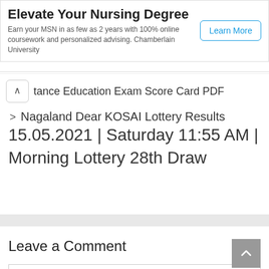[Figure (screenshot): Advertisement banner for Chamberlain University nursing degree program with 'Learn More' button]
tance Education Exam Score Card PDF
> Nagaland Dear KOSAI Lottery Results 15.05.2021 | Saturday 11:55 AM | Morning Lottery 28th Draw
Leave a Comment